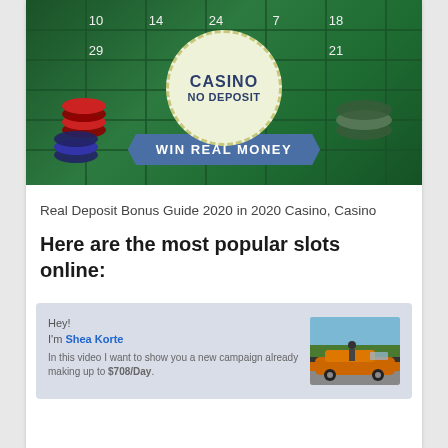[Figure (illustration): Casino no deposit win real money badge/seal on a roulette table background with poker chips. A circular badge reads CASINO NO DEPOSIT with a blue ribbon banner saying WIN REAL MONEY.]
Real Deposit Bonus Guide 2020 in 2020 Casino, Casino
Here are the most popular slots online:
[Figure (screenshot): Preview box with light blue-gray background. Text says Hey! I'm Shea Korte. In this video I want to show you a new campaign already making up to $708/Day. An image on the right shows a person standing next to an orange sports car with palm trees in background.]